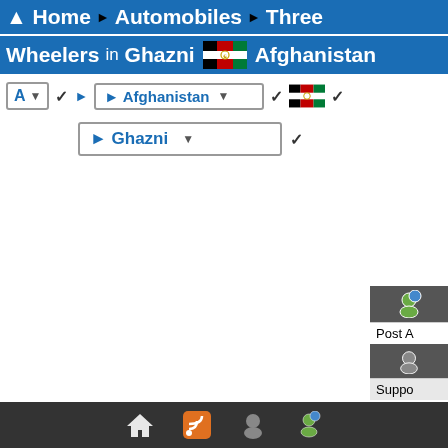[Figure (screenshot): Website navigation breadcrumb showing: Home > Automobiles > Three Wheelers in Ghazni, Afghanistan. Below are filter dropdowns for letter (A), country (Afghanistan), and city (Ghazni). A floating widget shows Post and Support options. Bottom bar has home, RSS, support, and user icons.]